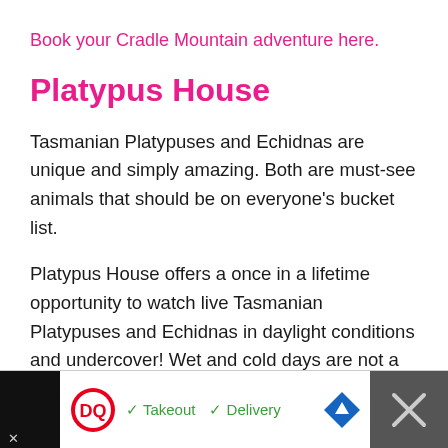Book your Cradle Mountain adventure here.
Platypus House
Tasmanian Platypuses and Echidnas are unique and simply amazing. Both are must-see animals that should be on everyone's bucket list.
Platypus House offers a once in a lifetime opportunity to watch live Tasmanian Platypuses and Echidnas in daylight conditions and undercover! Wet and cold days are not a problem!
[Figure (screenshot): Advertisement banner at bottom of page showing Dairy Queen ad with Takeout and Delivery options, a navigation arrow icon, and a close button on the right.]